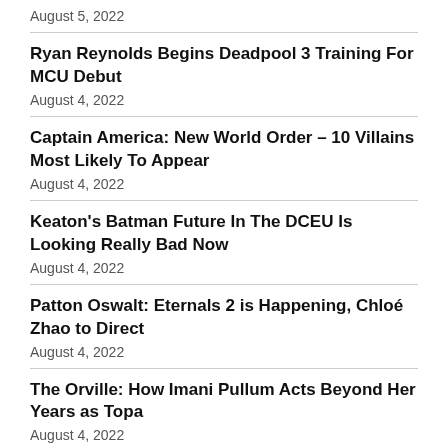August 5, 2022
Ryan Reynolds Begins Deadpool 3 Training For MCU Debut
August 4, 2022
Captain America: New World Order – 10 Villains Most Likely To Appear
August 4, 2022
Keaton's Batman Future In The DCEU Is Looking Really Bad Now
August 4, 2022
Patton Oswalt: Eternals 2 is Happening, Chloé Zhao to Direct
August 4, 2022
The Orville: How Imani Pullum Acts Beyond Her Years as Topa
August 4, 2022